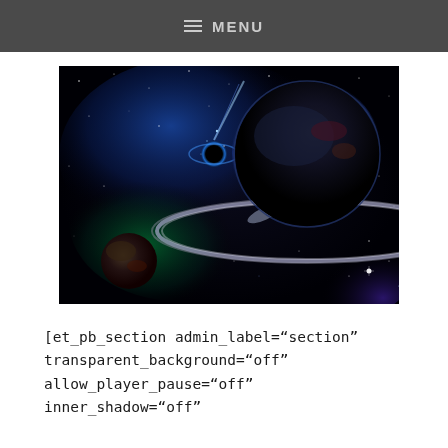≡ MENU
[Figure (illustration): Digital space art illustration showing a ringed planet on the right, a black hole with blue accretion disk in the center-left area, a smaller planet in the lower left, a distant galaxy, and colorful nebulae in blue, green, and purple against a black starfield background.]
[et_pb_section admin_label="section" transparent_background="off" allow_player_pause="off" inner_shadow="off"